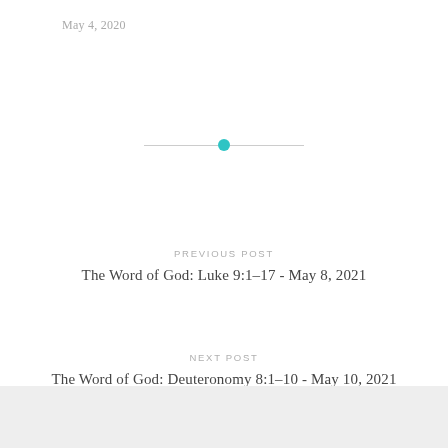May 4, 2020
[Figure (other): Horizontal divider with a teal/cyan circle dot in the center flanked by two thin gray lines]
PREVIOUS POST
The Word of God: Luke 9:1-17 - May 8, 2021
NEXT POST
The Word of God: Deuteronomy 8:1-10 - May 10, 2021